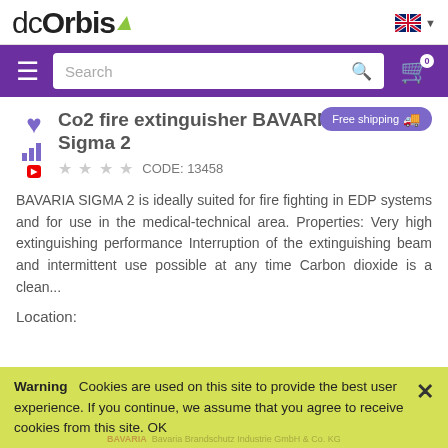dc Orbis logo with navigation bar including Search and cart icon
Co2 fire extinguisher BAVARIA Sigma 2
CODE: 13458
Free shipping
BAVARIA SIGMA 2 is ideally suited for fire fighting in EDP systems and for use in the medical-technical area. Properties: Very high extinguishing performance Interruption of the extinguishing beam and intermittent use possible at any time Carbon dioxide is a clean...
Location:
Warning   Cookies are used on this site to provide the best user experience. If you continue, we assume that you agree to receive cookies from this site. OK